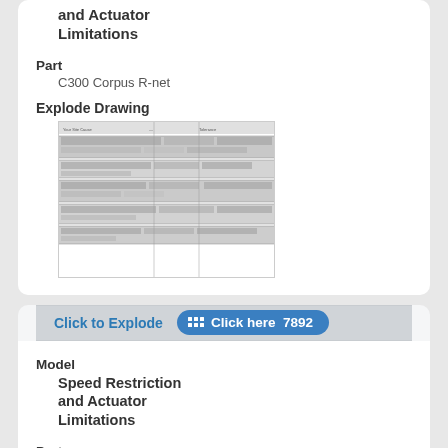and Actuator Limitations
Part
C300 Corpus R-net
Explode Drawing
[Figure (engineering-diagram): Thumbnail of an explode drawing document showing tabular parts list with multiple sections and rows]
Click to Explode
Click here 7892
Model
Speed Restriction and Actuator Limitations
Part
C300 PS R-net